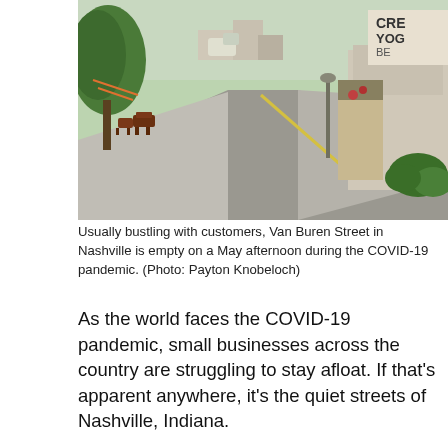[Figure (photo): A quiet street scene of Van Buren Street in Nashville, Indiana during the COVID-19 pandemic. The sidewalk is empty with benches and chairs on the left, trees lining the street, and shops including a yoga studio visible on the right side. The street recedes into the distance with no pedestrians visible.]
Usually bustling with customers, Van Buren Street in Nashville is empty on a May afternoon during the COVID-19 pandemic. (Photo: Payton Knobeloch)
As the world faces the COVID-19 pandemic, small businesses across the country are struggling to stay afloat. If that's apparent anywhere, it's the quiet streets of Nashville, Indiana.
“It’s like a ghost town,” said Hilary Key, owner of The Toy Chest in downtown Nashville. “It’s just really weird to have a really nice day and see all the doors closed and nobody out.”
“It’s almost eerie to drive through town and see no